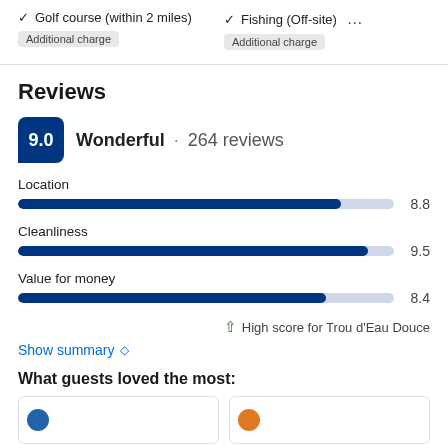✓ Golf course (within 2 miles) — Additional charge
✓ Fishing (Off-site) — Additional charge …
Reviews
9.0 Wonderful · 264 reviews
[Figure (bar-chart): Review scores]
↑ High score for Trou d'Eau Douce
Show summary ◇
What guests loved the most: